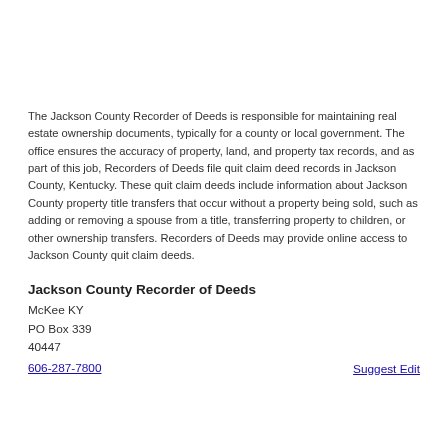The Jackson County Recorder of Deeds is responsible for maintaining real estate ownership documents, typically for a county or local government. The office ensures the accuracy of property, land, and property tax records, and as part of this job, Recorders of Deeds file quit claim deed records in Jackson County, Kentucky. These quit claim deeds include information about Jackson County property title transfers that occur without a property being sold, such as adding or removing a spouse from a title, transferring property to children, or other ownership transfers. Recorders of Deeds may provide online access to Jackson County quit claim deeds.
Jackson County Recorder of Deeds
McKee KY
PO Box 339
40447
606-287-7800
Suggest Edit